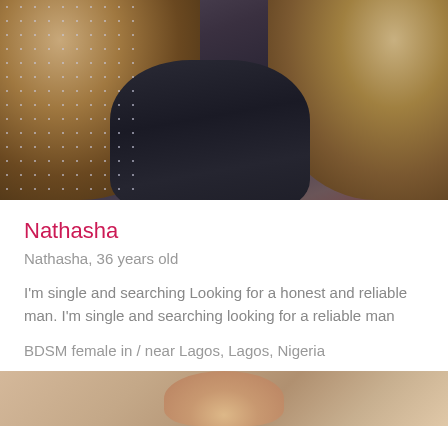[Figure (photo): Profile photo of Nathasha, a woman with long curly brown hair, wearing a dark leather jacket, with a red background on the right side. The photo shows her from roughly the shoulders up.]
Nathasha
Nathasha, 36 years old
I'm single and searching Looking for a honest and reliable man. I'm single and searching looking for a reliable man
BDSM female in / near Lagos, Lagos, Nigeria
[Figure (photo): Partial photo at bottom of page, showing the top of a person's head/face, cropped.]